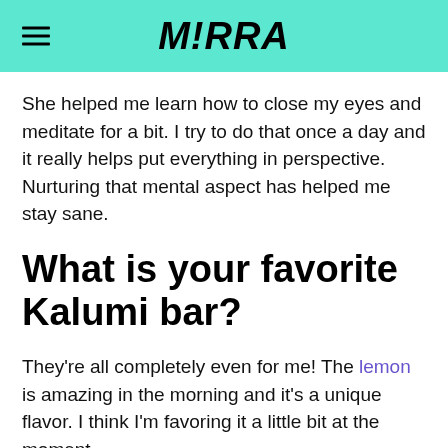M!RRA
She helped me learn how to close my eyes and meditate for a bit. I try to do that once a day and it really helps put everything in perspective. Nurturing that mental aspect has helped me stay sane.
What is your favorite Kalumi bar?
They're all completely even for me! The lemon is amazing in the morning and it's a unique flavor. I think I'm favoring it a little bit at the moment.
What is your beauty